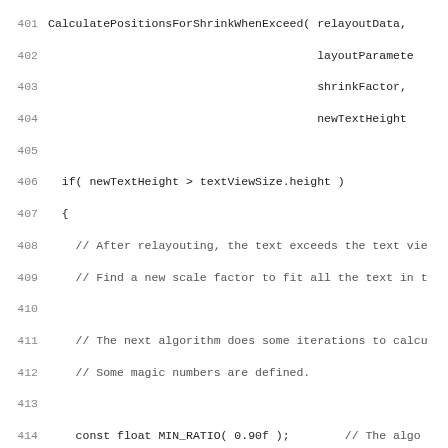[Figure (screenshot): Source code listing showing C++ code for a text layout shrink algorithm, lines 401-433, with line numbers on the left and monospace code on the right. Includes function calls, if/for control structures, const declarations, and inline comments.]